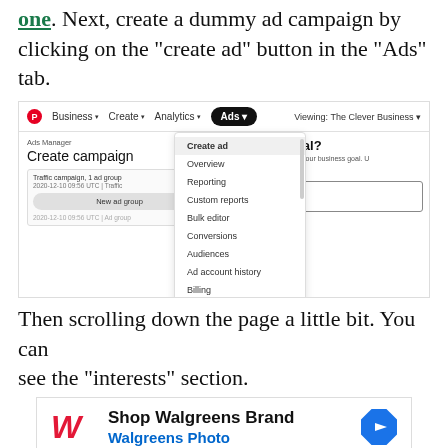one. Next, create a dummy ad campaign by clicking on the “create ad” button in the “Ads” tab.
[Figure (screenshot): Screenshot of Pinterest Ads Manager interface showing the Ads dropdown menu with options: Create ad (highlighted), Overview, Reporting, Custom reports, Bulk editor, Conversions, Audiences, Ad account history, Billing, Catalogs, Video views. The left panel shows 'Create campaign' and the right panel shows a business goal selection.]
Then scrolling down the page a little bit. You can see the “interests” section.
[Figure (photo): Advertisement banner for Walgreens Brand / Walgreens Photo with a blue navigation arrow icon on the right side.]